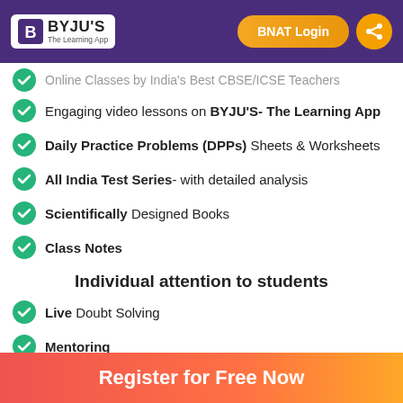BYJU'S - The Learning App | BNAT Login
Online Classes by India's Best CBSE/ICSE Teachers (partial)
Engaging video lessons on BYJU'S- The Learning App
Daily Practice Problems (DPPs) Sheets & Worksheets
All India Test Series- with detailed analysis
Scientifically Designed Books
Class Notes
Individual attention to students
Live Doubt Solving
Mentoring
Monthly Progress Report
Register for Free Now